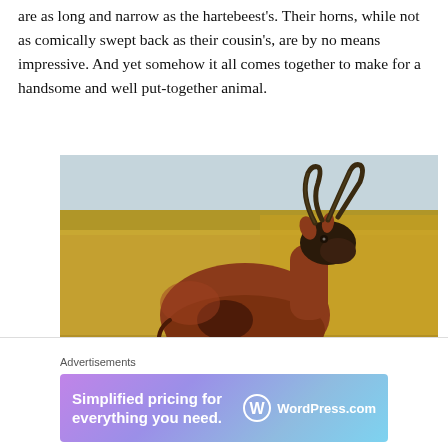are as long and narrow as the hartebeest's. Their horns, while not as comically swept back as their cousin's, are by no means impressive. And yet somehow it all comes together to make for a handsome and well put-together animal.
[Figure (photo): A topi antelope (Damaliscus lunatus) standing in golden savanna grassland, facing the camera. The animal has a reddish-brown coat with darker legs, and curved horns. The background shows flat open grassland under a light sky.]
Advertisements
[Figure (infographic): Advertisement banner with purple-to-blue gradient background. Left side reads 'Simplified pricing for everything you need.' Right side shows WordPress.com logo with W symbol.]